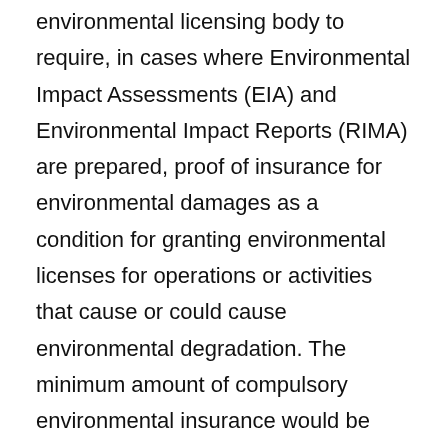environmental licensing body to require, in cases where Environmental Impact Assessments (EIA) and Environmental Impact Reports (RIMA) are prepared, proof of insurance for environmental damages as a condition for granting environmental licenses for operations or activities that cause or could cause environmental degradation. The minimum amount of compulsory environmental insurance would be fixed at the initial stage of the licensing by the environmental licensing body, according to criteria established in implementing regulations. The proposal now passes to the Environment Committee for review.
House Committee Approves Use of 50% Recycled Paper in Federal Offices